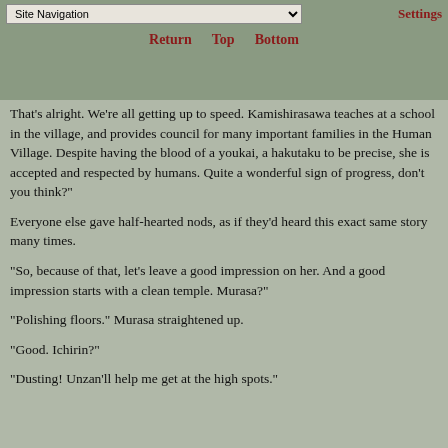Site Navigation | Return | Top | Bottom | Settings
That's alright. We're all getting up to speed. Kamishirasawa teaches at a school in the village, and provides council for many important families in the Human Village. Despite having the blood of a youkai, a hakutaku to be precise, she is accepted and respected by humans. Quite a wonderful sign of progress, don't you think?"
Everyone else gave half-hearted nods, as if they'd heard this exact same story many times.
"So, because of that, let's leave a good impression on her. And a good impression starts with a clean temple. Murasa?"
"Polishing floors." Murasa straightened up.
"Good. Ichirin?"
"Dusting! Unzan'll help me get at the high spots."